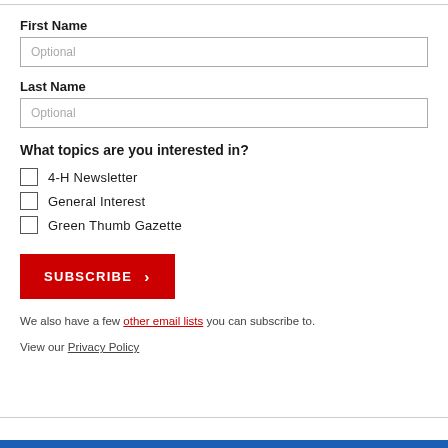First Name
Optional
Last Name
Optional
What topics are you interested in?
4-H Newsletter
General Interest
Green Thumb Gazette
SUBSCRIBE
We also have a few other email lists you can subscribe to.
View our Privacy Policy